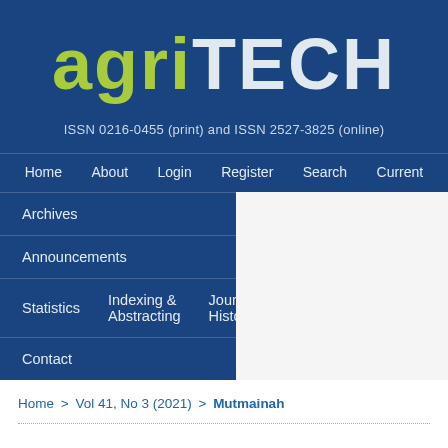[Figure (logo): agriTECH journal logo — 'agri' in yellow-green and 'TECH' in light grey/white on dark blue background]
ISSN 0216-0455 (print) and ISSN 2527-3825 (online)
Home
About
Login
Register
Search
Current
Archives
Announcements
Statistics    Indexing & Abstracting    Journal History
Contact
Home > Vol 41, No 3 (2021) > Mutmainah